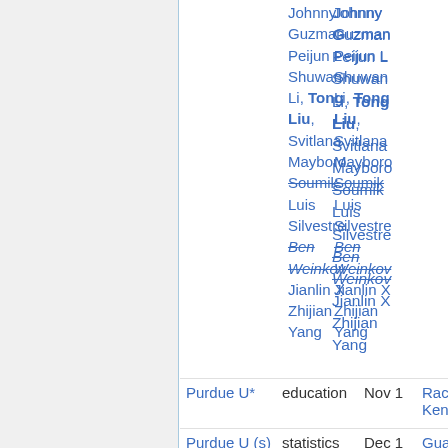| Institution | Field | Date | Names |
| --- | --- | --- | --- |
|  |  |  | Johnny
Guzman
Peijun L
Shuwan
Li, Tong Liu,
Svitlana
Mayboro
Soumik
Luis
Silvestre
Ben
Weinkow
Jianlin X
Zhijian
Yang |
| Purdue U* | education | Nov 1 | Rachael
Kenney |
| Purdue U (s) | statistics | Dec 1 | Guang
Chen, B
Li, Tanzy
Love |
| RPI (o) | oper research | ? |  |